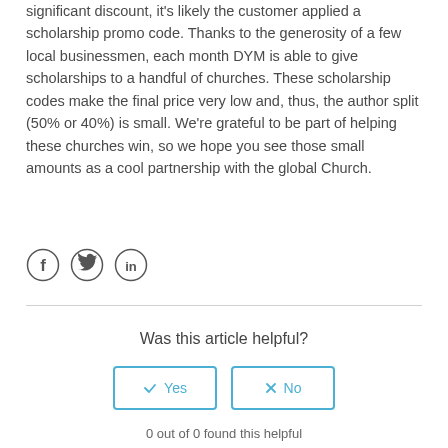significant discount, it's likely the customer applied a scholarship promo code. Thanks to the generosity of a few local businessmen, each month DYM is able to give scholarships to a handful of churches. These scholarship codes make the final price very low and, thus, the author split (50% or 40%) is small. We're grateful to be part of helping these churches win, so we hope you see those small amounts as a cool partnership with the global Church.
[Figure (other): Social sharing icons: Facebook, Twitter, LinkedIn]
Was this article helpful?
Yes  No
0 out of 0 found this helpful